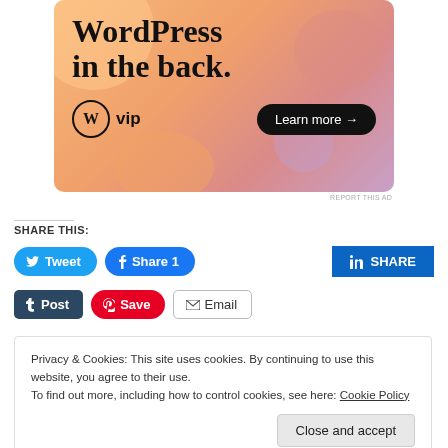[Figure (illustration): WordPress VIP advertisement banner with colorful gradient background (orange, salmon, lavender blobs). Large serif text reads 'WordPress in the back.' with WordPress VIP logo at bottom left and a 'Learn more →' button in a dark pill shape at bottom right.]
REPORT THIS AD
SHARE THIS:
Tweet
Share 1
SHARE (LinkedIn)
Post (Tumblr)
Save (Pinterest)
Email
Privacy & Cookies: This site uses cookies. By continuing to use this website, you agree to their use.
To find out more, including how to control cookies, see here: Cookie Policy
Close and accept